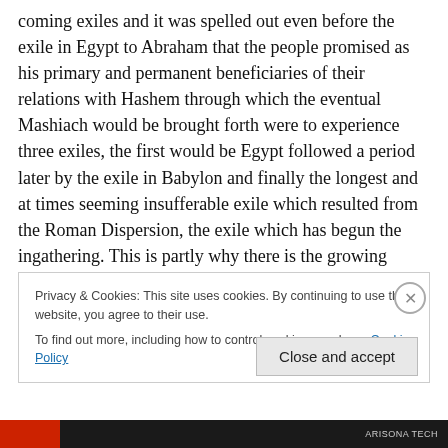coming exiles and it was spelled out even before the exile in Egypt to Abraham that the people promised as his primary and permanent beneficiaries of their relations with Hashem through which the eventual Mashiach would be brought forth were to experience three exiles, the first would be Egypt followed a period later by the exile in Babylon and finally the longest and at times seeming insufferable exile which resulted from the Roman Dispersion, the exile which has begun the ingathering. This is partly why there is the growing evidence for Jews to realize that their future is either Israel or becoming the
Privacy & Cookies: This site uses cookies. By continuing to use this website, you agree to their use.
To find out more, including how to control cookies, see here: Cookie Policy
Close and accept